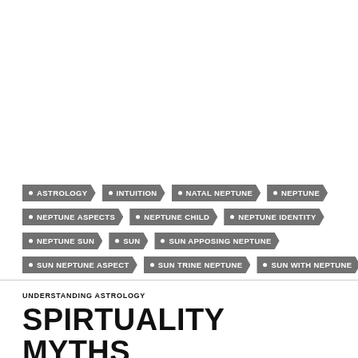ASTROLOGY
INTUITION
NATAL NEPTUNE
NEPTUNE
NEPTUNE ASPECTS
NEPTUNE CHILD
NEPTUNE IDENTITY
NEPTUNE SUN
SUN
SUN APPOSING NEPTUNE
SUN NEPTUNE ASPECT
SUN TRINE NEPTUNE
SUN WITH NEPTUNE
UNDERSTANDING ASTROLOGY
SPIRTUALITY MYTHS